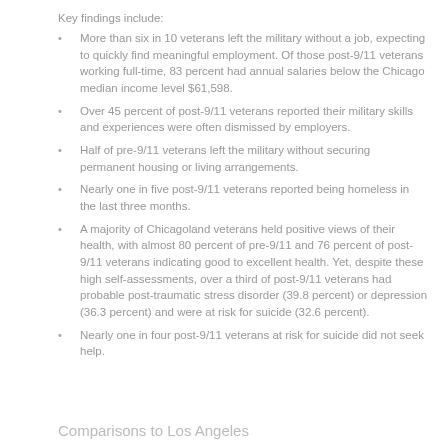Key findings include:
More than six in 10 veterans left the military without a job, expecting to quickly find meaningful employment. Of those post-9/11 veterans working full-time, 83 percent had annual salaries below the Chicago median income level $61,598.
Over 45 percent of post-9/11 veterans reported their military skills and experiences were often dismissed by employers.
Half of pre-9/11 veterans left the military without securing permanent housing or living arrangements.
Nearly one in five post-9/11 veterans reported being homeless in the last three months.
A majority of Chicagoland veterans held positive views of their health, with almost 80 percent of pre-9/11 and 76 percent of post-9/11 veterans indicating good to excellent health. Yet, despite these high self-assessments, over a third of post-9/11 veterans had probable post-traumatic stress disorder (39.8 percent) or depression (36.3 percent) and were at risk for suicide (32.6 percent).
Nearly one in four post-9/11 veterans at risk for suicide did not seek help.
Comparisons to Los Angeles